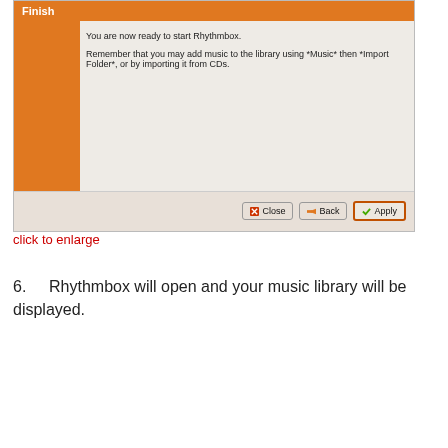[Figure (screenshot): Rhythmbox setup wizard 'Finish' dialog screenshot showing orange title bar with 'Finish', orange sidebar panel on left, content area with text 'You are now ready to start Rhythmbox.' and 'Remember that you may add music to the library using *Music* then *Import Folder*, or by importing it from CDs.' and three buttons at bottom: Close, Back, Apply]
click to enlarge
6. Rhythmbox will open and your music library will be displayed.